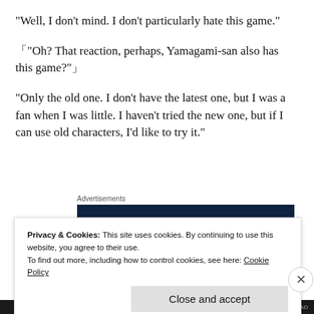“Well, I don’t mind. I don’t particularly hate this game.”
「“Oh? That reaction, perhaps, Yamagami-san also has this game?”」
“Only the old one. I don’t have the latest one, but I was a fan when I was little. I haven’t tried the new one, but if I can use old characters, I’d like to try it.”
Advertisements
[Figure (screenshot): Advertisement banner showing 'Your site.' text with 'Built By' label on dark navy background]
Privacy & Cookies: This site uses cookies. By continuing to use this website, you agree to their use.
To find out more, including how to control cookies, see here: Cookie Policy
Close and accept